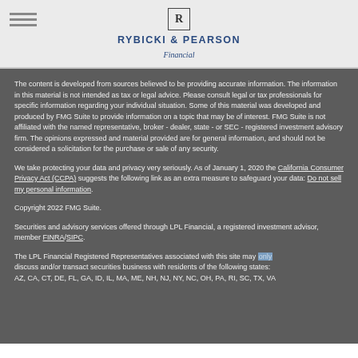RYBICKI & PEARSON Financial
The content is developed from sources believed to be providing accurate information. The information in this material is not intended as tax or legal advice. Please consult legal or tax professionals for specific information regarding your individual situation. Some of this material was developed and produced by FMG Suite to provide information on a topic that may be of interest. FMG Suite is not affiliated with the named representative, broker - dealer, state - or SEC - registered investment advisory firm. The opinions expressed and material provided are for general information, and should not be considered a solicitation for the purchase or sale of any security.
We take protecting your data and privacy very seriously. As of January 1, 2020 the California Consumer Privacy Act (CCPA) suggests the following link as an extra measure to safeguard your data: Do not sell my personal information.
Copyright 2022 FMG Suite.
Securities and advisory services offered through LPL Financial, a registered investment advisor, member FINRA/SIPC.
The LPL Financial Registered Representatives associated with this site may only discuss and/or transact securities business with residents of the following states: AZ, CA, CT, DE, FL, GA, ID, IL, MA, ME, NH, NJ, NY, NC, OH, PA, RI, SC, TX, VA